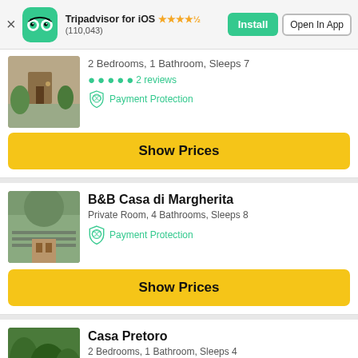Tripadvisor for iOS ★★★★½ (110,043) | Install | Open In App
2 Bedrooms, 1 Bathroom, Sleeps 7
2 reviews
Payment Protection
Show Prices
B&B Casa di Margherita
Private Room, 4 Bathrooms, Sleeps 8
Payment Protection
Show Prices
Casa Pretoro
2 Bedrooms, 1 Bathroom, Sleeps 4
3 reviews